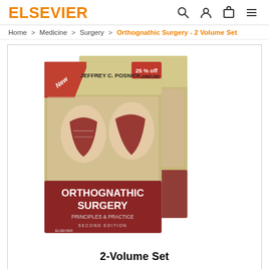ELSEVIER
Home > Medicine > Surgery > Orthognathic Surgery - 2 Volume Set
[Figure (photo): Cover image of Orthognathic Surgery: Principles & Practice, Second Edition, 2-Volume Set by Jeffrey C. Posnick, DMD, MD. Shows two book volumes with anatomical jaw illustrations on the cover. Includes 'New' banner and '25 % off' label.]
2-Volume Set